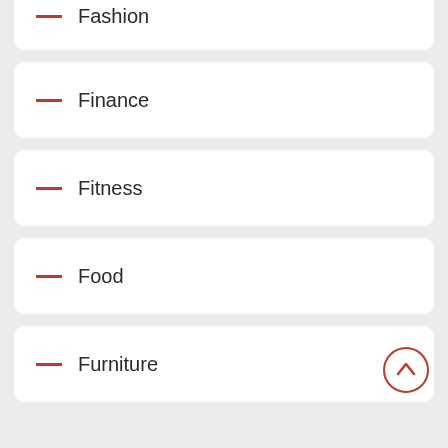Fashion
Finance
Fitness
Food
Furniture
Gadgets
Games